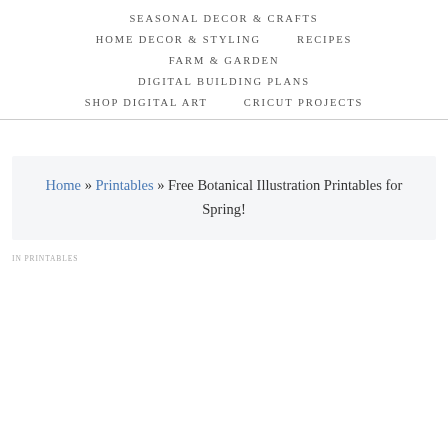SEASONAL DECOR & CRAFTS
HOME DECOR & STYLING
RECIPES
FARM & GARDEN
DIGITAL BUILDING PLANS
SHOP DIGITAL ART
CRICUT PROJECTS
Home » Printables » Free Botanical Illustration Printables for Spring!
IN PRINTABLES